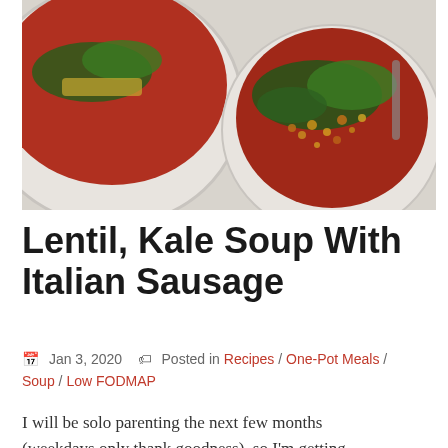[Figure (photo): Overhead view of two bowls of lentil kale soup with Italian sausage on a light gray surface, showing red tomato broth with green kale and lentils]
Lentil, Kale Soup With Italian Sausage
Jan 3, 2020   Posted in Recipes / One-Pot Meals / Soup / Low FODMAP
I will be solo parenting the next few months (weekdays only thank goodness), so I'm getting